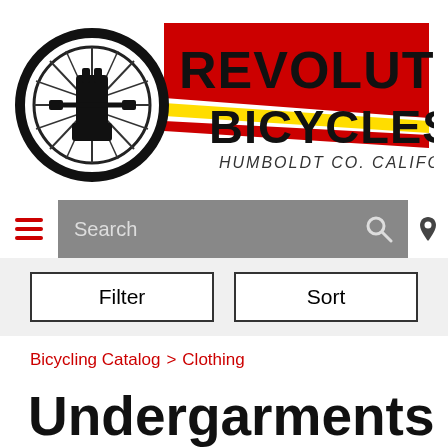[Figure (logo): Revolution Bicycles logo with bicycle wheel graphic and text 'Revolution Bicycles - Humboldt Co. California']
Search
Filter   Sort
Bicycling Catalog > Clothing
Undergarments